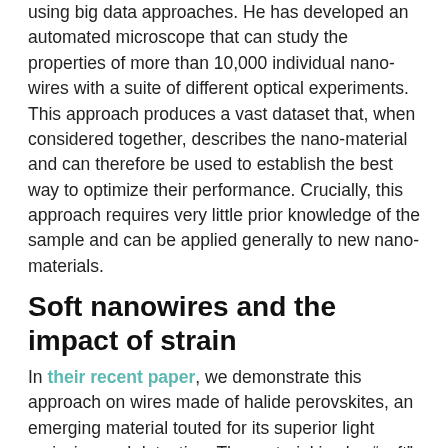using big data approaches. He has developed an automated microscope that can study the properties of more than 10,000 individual nano-wires with a suite of different optical experiments. This approach produces a vast dataset that, when considered together, describes the nano-material and can therefore be used to establish the best way to optimize their performance. Crucially, this approach requires very little prior knowledge of the sample and can be applied generally to new nano-materials.
Soft nanowires and the impact of strain
In their recent paper, we demonstrate this approach on wires made of halide perovskites, an emerging material touted for its superior light emission and detection. The material is also “soft”, deforming to fit on